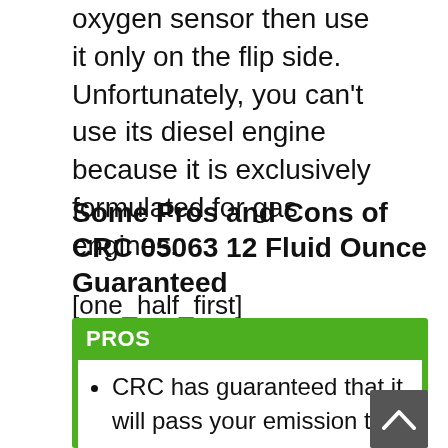oxygen sensor then use it only on the flip side. Unfortunately, you can't use its diesel engine because it is exclusively formulated for gas engines.
Some Pros and Cons of CRC 05063 12 Fluid Ounce Guaranteed
[one_half_first]
PROS
CRC has guaranteed that it will pass your emission test.
This cleaner comes with a powerful detergent additive